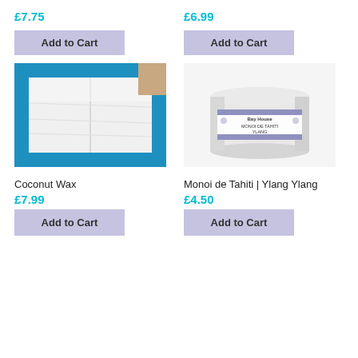£7.75
Add to Cart
£6.99
Add to Cart
[Figure (photo): Top-down view of white coconut wax block in a blue plastic-lined container]
[Figure (photo): White tub of Bay House Monoi de Tahiti Ylang product, labelled with purple text]
Coconut Wax
£7.99
Add to Cart
Monoi de Tahiti | Ylang Ylang
£4.50
Add to Cart